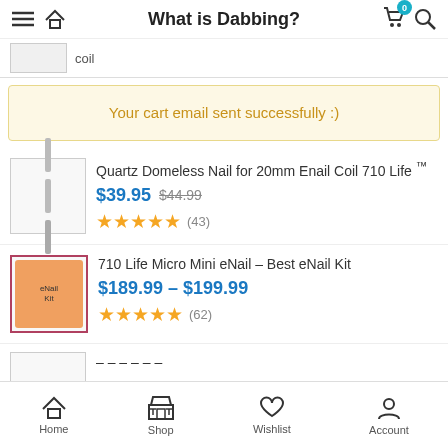What is Dabbing?
coil
Your cart email sent successfully :)
Quartz Domeless Nail for 20mm Enail Coil 710 Life ™
$39.95 $44.99
★★★★★ (43)
710 Life Micro Mini eNail – Best eNail Kit
$189.99 – $199.99
★★★★★ (62)
Home  Shop  Wishlist  Account